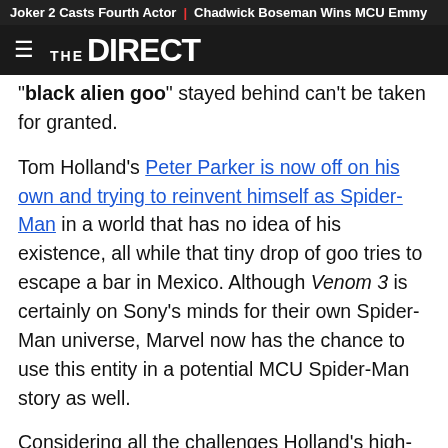Joker 2 Casts Fourth Actor | Chadwick Boseman Wins MCU Emmy
THE DIRECT
"black alien goo" stayed behind can't be taken for granted.
Tom Holland's Peter Parker is now off on his own and trying to reinvent himself as Spider-Man in a world that has no idea of his existence, all while that tiny drop of goo tries to escape a bar in Mexico. Although Venom 3 is certainly on Sony's minds for their own Spider-Man universe, Marvel now has the chance to use this entity in a potential MCU Spider-Man story as well.
Considering all the challenges Holland's high-